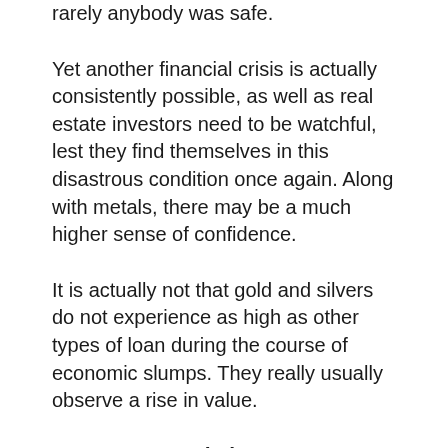rarely anybody was safe.
Yet another financial crisis is actually consistently possible, as well as real estate investors need to be watchful, lest they find themselves in this disastrous condition once again. Along with metals, there may be a much higher sense of confidence.
It is actually not that gold and silvers do not experience as high as other types of loan during the course of economic slumps. They really usually observe a rise in value.
Are You A Good Fit?
Goldco is a great financial investment for several individuals. If these illustrate you,